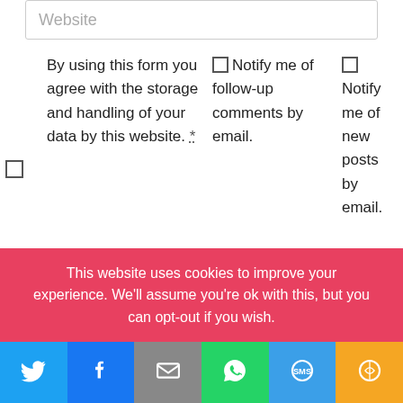Website
By using this form you agree with the storage and handling of your data by this website. *
Notify me of follow-up comments by email.
Notify me of new posts by email.
POST COMMENT
This website uses cookies to improve your experience. We'll assume you're ok with this, but you can opt-out if you wish.
[Figure (infographic): Social sharing bar with icons for Twitter, Facebook, Email, WhatsApp, SMS, and More]